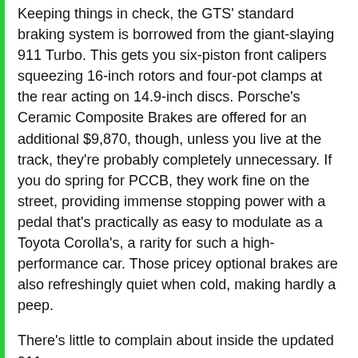Keeping things in check, the GTS' standard braking system is borrowed from the giant-slaying 911 Turbo. This gets you six-piston front calipers squeezing 16-inch rotors and four-pot clamps at the rear acting on 14.9-inch discs. Porsche's Ceramic Composite Brakes are offered for an additional $9,870, though, unless you live at the track, they're probably completely unnecessary. If you do spring for PCCB, they work fine on the street, providing immense stopping power with a pedal that's practically as easy to modulate as a Toyota Corolla's, a rarity for such a high-performance car. Those pricey optional brakes are also refreshingly quiet when cold, making hardly a peep.
There's little to complain about inside the updated 911.
Porsche
Matching its startling straight-line speed and immense